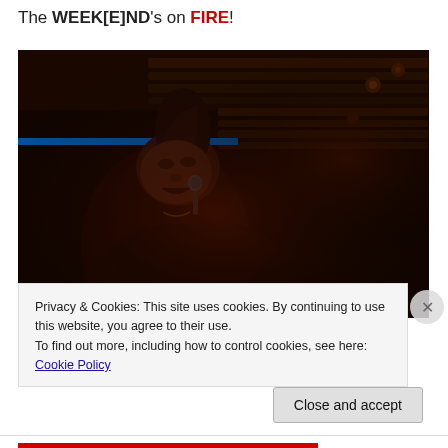The WEEK[E]ND's on FIRE!
[Figure (photo): A male performer singing into a microphone on a dark stage with blue lighting and red-toned atmosphere, seen from a side angle.]
Privacy & Cookies: This site uses cookies. By continuing to use this website, you agree to their use.
To find out more, including how to control cookies, see here: Cookie Policy
Close and accept